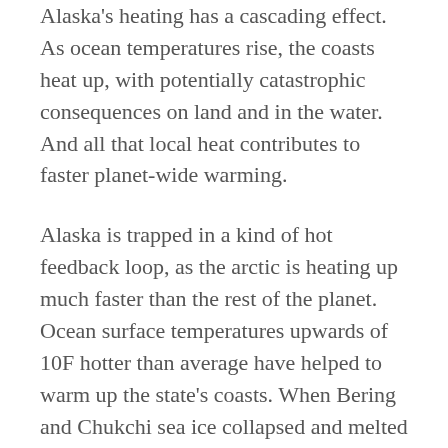Alaska's heating has a cascading effect. As ocean temperatures rise, the coasts heat up, with potentially catastrophic consequences on land and in the water. And all that local heat contributes to faster planet-wide warming.
Alaska is trapped in a kind of hot feedback loop, as the arctic is heating up much faster than the rest of the planet. Ocean surface temperatures upwards of 10F hotter than average have helped to warm up the state's coasts. When Bering and Chukchi sea ice collapsed and melted months earlier than normal this spring, the University of Alaska climate specialist